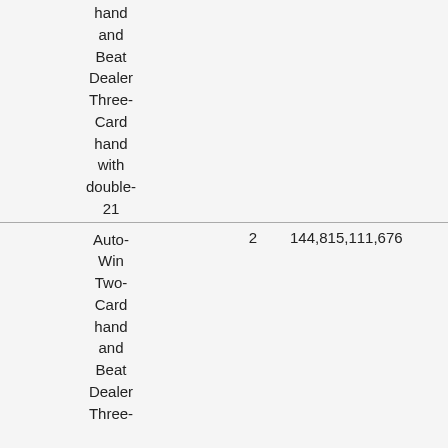| hand
and
Beat
Dealer
Three-
Card
hand
with
double-
21 |  |  |  |  |
| Auto-
Win
Two-
Card
hand
and
Beat
Dealer
Three-
Card
hand | 2 | 144,815,111,676 | 0.036325 | 0.072 |